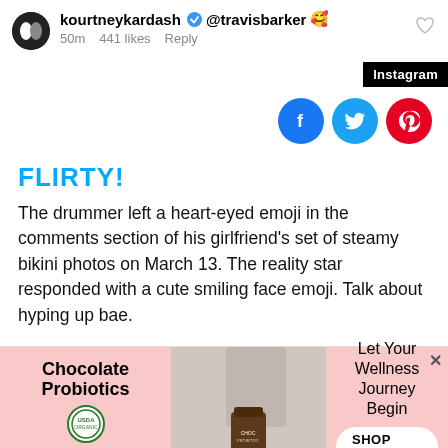[Figure (screenshot): Instagram comment screenshot showing kourtneykardash tagging @travisbarker with a smiling face emoji, 50m ago, 441 likes, Reply option, and a heart button]
[Figure (infographic): Three social share buttons: Facebook (blue), Twitter (blue), Pinterest (red)]
FLIRTY!
The drummer left a heart-eyed emoji in the comments section of his girlfriend's set of steamy bikini photos on March 13. The reality star responded with a cute smiling face emoji. Talk about hyping up bae.
[Figure (infographic): Advertisement banner for Chocolate Probiotics with pink background, USDA seal, product image, and 'Let Your Wellness Journey Begin' with SHOP NOW button]